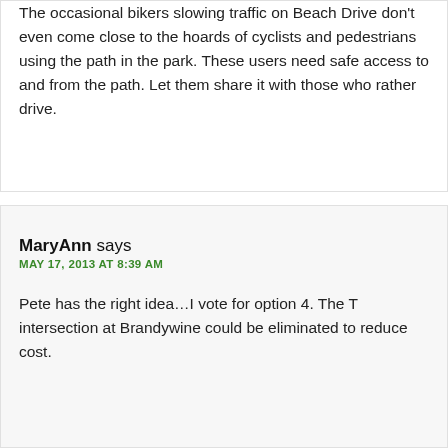The occasional bikers slowing traffic on Beach Drive don't even come close to the hoards of cyclists and pedestrians using the path in the park. These users need safe access to and from the path. Let them share it with those who rather drive.
MaryAnn says
MAY 17, 2013 AT 8:39 AM
Pete has the right idea…I vote for option 4. The T intersection at Brandywine could be eliminated to reduce cost.